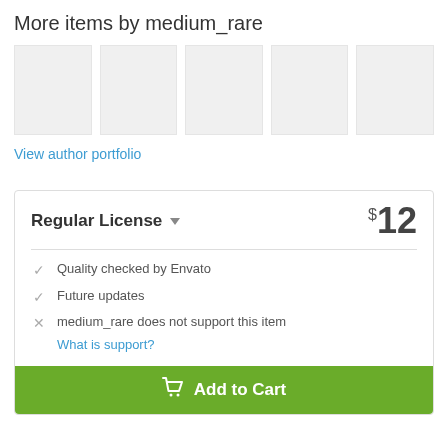More items by medium_rare
[Figure (other): Five gray placeholder thumbnail boxes in a row]
View author portfolio
Regular License ▾  $12
✓ Quality checked by Envato
✓ Future updates
✗ medium_rare does not support this item
What is support?
Add to Cart